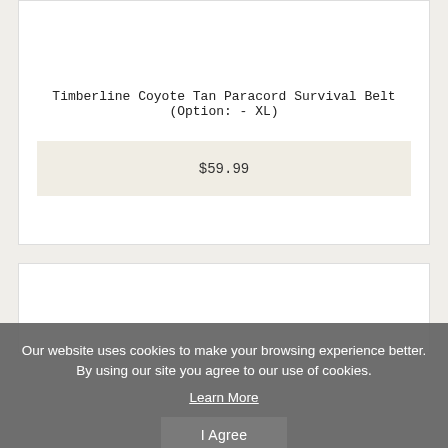Timberline Coyote Tan Paracord Survival Belt (Option: - XL)
$59.99
Our website uses cookies to make your browsing experience better. By using our site you agree to our use of cookies.
Learn More
I Agree